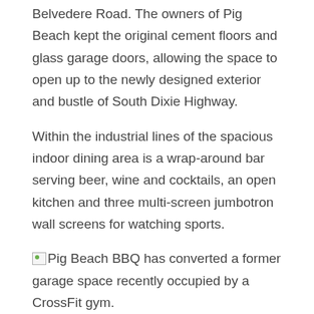Belvedere Road. The owners of Pig Beach kept the original cement floors and glass garage doors, allowing the space to open up to the newly designed exterior and bustle of South Dixie Highway.
Within the industrial lines of the spacious indoor dining area is a wrap-around bar serving beer, wine and cocktails, an open kitchen and three multi-screen jumbotron wall screens for watching sports.
Pig Beach BBQ has converted a former garage space recently occupied by a CrossFit gym.
Pig Beach co-founder, local resident Rob Shawger, and local partner Vince LaPapa spearheaded efforts to bring the acclaimed New York concept to Palm Beach County. The menu is in the hands of founding pitmasters and chefs Matt Abdo and Shane McBride, West Palm residents.
Menu offerings include cherry and smoked walnut brisket, smoked